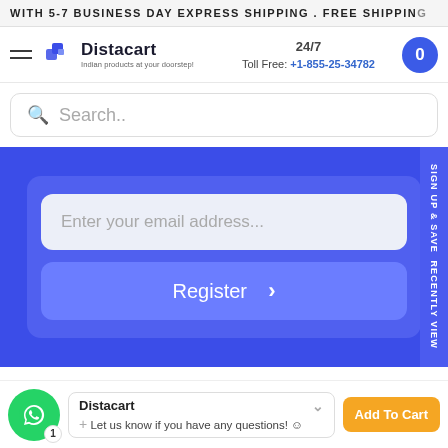WITH 5-7 BUSINESS DAY EXPRESS SHIPPING . FREE SHIPPING
[Figure (logo): Distacart logo with tagline 'Indian products at your doorstep']
24/7 Toll Free: +1-855-25-34782
Search..
Enter your email address...
Register >
sign up & save RECENTLY VIEW
Distacart
Let us know if you have any questions! ☺
Add To Cart